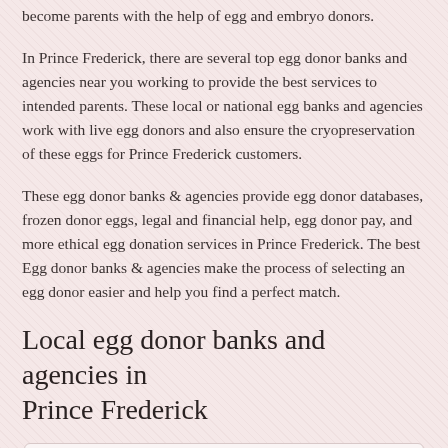become parents with the help of egg and embryo donors.
In Prince Frederick, there are several top egg donor banks and agencies near you working to provide the best services to intended parents. These local or national egg banks and agencies work with live egg donors and also ensure the cryopreservation of these eggs for Prince Frederick customers.
These egg donor banks & agencies provide egg donor databases, frozen donor eggs, legal and financial help, egg donor pay, and more ethical egg donation services in Prince Frederick. The best Egg donor banks & agencies make the process of selecting an egg donor easier and help you find a perfect match.
Local egg donor banks and agencies in Prince Frederick
Sorry, no listings were found.